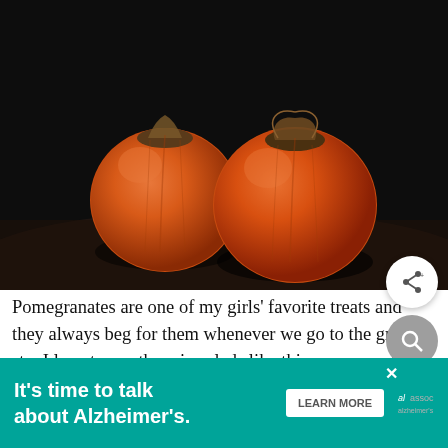[Figure (photo): Two orange persimmon fruits on a dark background, close-up food photography style]
Pomegranates are one of my girls' favorite treats and they always beg for them whenever we go to the grocery st... I love to use them in salads like this one or another favorite winter salad made with pears, pomegranate, and sw... dressing ov...
[Figure (other): Advertisement banner: It's time to talk about Alzheimer's. with LEARN MORE button and Alzheimer's Association logo]